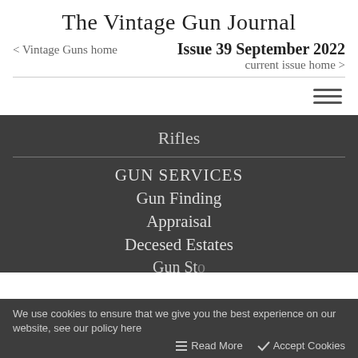The Vintage Gun Journal
Issue 39 September 2022
< Vintage Guns home
current issue home >
Rifles
GUN SERVICES
Gun Finding
Appraisal
Decesed Estates
We use cookies to ensure that we give you the best experience on our website, see our policy here   Read More   ✓ Accept Cookies